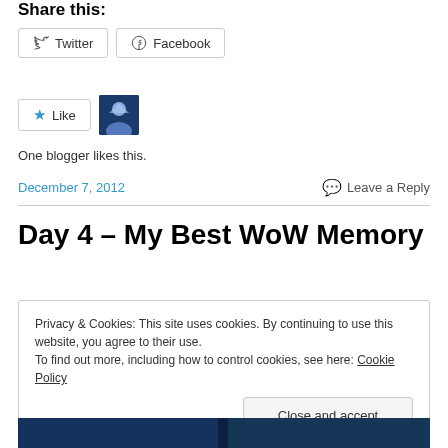Share this:
Twitter  Facebook  (social share buttons)
Like  (avatar)  One blogger likes this.
December 7, 2012   Leave a Reply
Day 4 – My Best WoW Memory
Privacy & Cookies: This site uses cookies. By continuing to use this website, you agree to their use. To find out more, including how to control cookies, see here: Cookie Policy   Close and accept